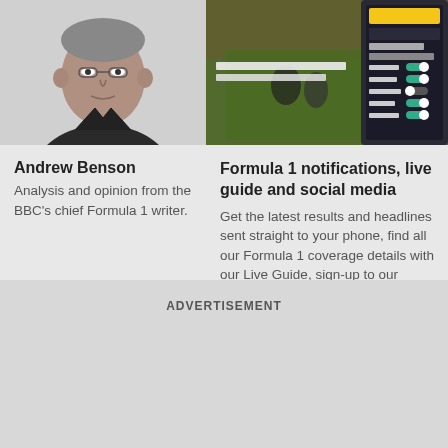[Figure (photo): Black and white photo of Andrew Benson, a man wearing a dark shirt, cropped at shoulders]
[Figure (screenshot): Screenshot of a mobile phone app showing Formula 1 coverage with sports imagery and toggle notifications]
Andrew Benson
Analysis and opinion from the BBC's chief Formula 1 writer.
Formula 1 notifications, live guide and social media
Get the latest results and headlines sent straight to your phone, find all our Formula 1 coverage details with our Live Guide, sign-up to our newsletter and learn where to find us on online.
ADVERTISEMENT